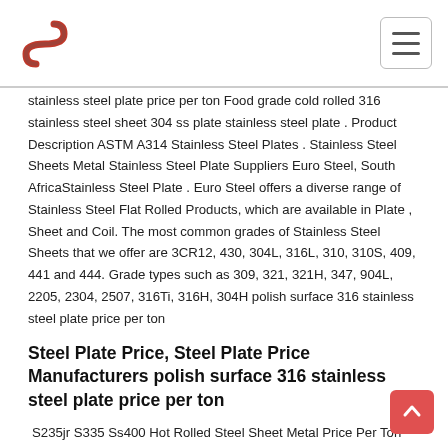Logo and navigation header
stainless steel plate price per ton Food grade cold rolled 316 stainless steel sheet 304 ss plate stainless steel plate . Product Description ASTM A314 Stainless Steel Plates . Stainless Steel Sheets Metal Stainless Steel Plate Suppliers Euro Steel, South AfricaStainless Steel Plate . Euro Steel offers a diverse range of Stainless Steel Flat Rolled Products, which are available in Plate , Sheet and Coil. The most common grades of Stainless Steel Sheets that we offer are 3CR12, 430, 304L, 316L, 310, 310S, 409, 441 and 444. Grade types such as 309, 321, 321H, 347, 904L, 2205, 2304, 2507, 316Ti, 316H, 304H polish surface 316 stainless steel plate price per ton
Steel Plate Price, Steel Plate Price Manufacturers polish surface 316 stainless steel plate price per ton
S235jr S335 Ss400 Hot Rolled Steel Sheet Metal Price Per Ton Hot Rolled Carbon Steel Coil Hr Hot Roll Steel Plate for Ship. FOB Price US $ 700-800 / Ton . Min. Order 5 Tons. After-sales